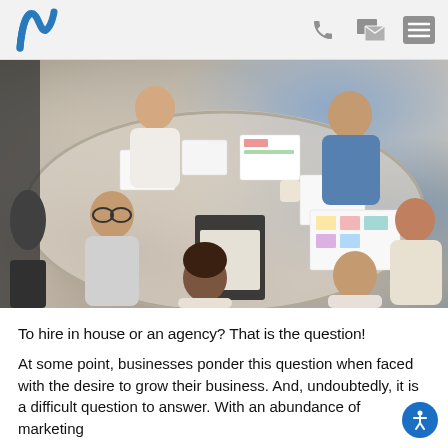Namecoach logo and navigation icons
[Figure (photo): Overhead view of a business meeting around a white table with papers, documents, tablets, and five people seated/standing around it.]
To hire in house or an agency? That is the question!
At some point, businesses ponder this question when faced with the desire to grow their business. And, undoubtedly, it is a difficult question to answer. With an abundance of marketing